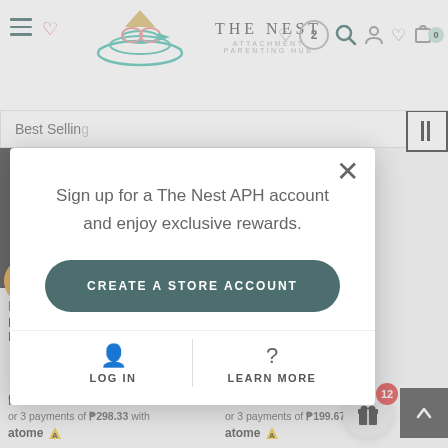[Figure (screenshot): The Nest Attachment Parenting Hub website header with logo, navigation icons including hamburger menu, heart/wishlist (showing 2), search, user, and cart (showing 0)]
Best Selling
[Figure (photo): Dark/black product packaging with Rackley brand text]
Rackley
Rackley Cruis Ladies
★★★ (1)
₱895.00
or 3 payments of ₱298.33 with
atome
★★★★★ (1)
₱599.00
or 3 payments of ₱199.67 with
atome
Sign up for a The Nest APH account and enjoy exclusive rewards.
CREATE A STORE ACCOUNT
LOG IN
LEARN MORE